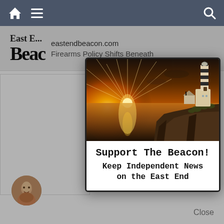Navigation bar with home, menu, and search icons
East E... Beacon — eastendbeacon.com — Firearms Policy Shifts Beneath
[Figure (photo): Lighthouse at sunset with dramatic sky and rocky coastline — East End Beacon logo image]
Support The Beacon!
Keep Independent News on the East End
Close